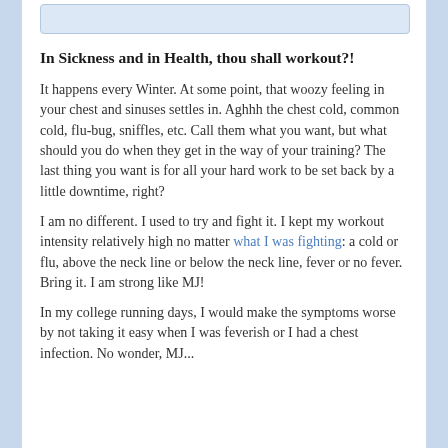[Figure (other): Image placeholder at top of content area]
In Sickness and in Health, thou shall workout?!
It happens every Winter. At some point, that woozy feeling in your chest and sinuses settles in. Aghhh the chest cold, common cold, flu-bug, sniffles, etc. Call them what you want, but what should you do when they get in the way of your training? The last thing you want is for all your hard work to be set back by a little downtime, right?
I am no different. I used to try and fight it. I kept my workout intensity relatively high no matter what I was fighting: a cold or flu, above the neck line or below the neck line, fever or no fever. Bring it. I am strong like MJ!
In my college running days, I would make the symptoms worse by not taking it easy when I was feverish or I had a chest infection. No wonder, MJ...